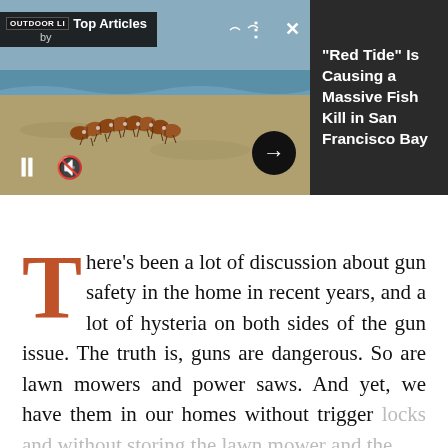[Figure (screenshot): A video player widget showing a beach scene with a worm/sea creature on sand, overlaid with 'Top Articles by Outdoor Life' branding, playback controls (pause, mute), and a right panel with article title.]
"Red Tide" Is Causing a Massive Fish Kill in San Francisco Bay
There's been a lot of discussion about gun safety in the home in recent years, and a lot of hysteria on both sides of the gun issue. The truth is, guns are dangerous. So are lawn mowers and power saws. And yet, we have them in our homes without trigger locks and without storing the lawn mower and the